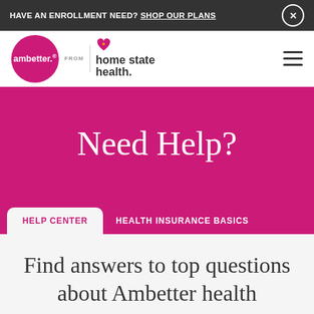HAVE AN ENROLLMENT NEED? SHOP OUR PLANS ×
[Figure (logo): Ambetter from Home State Health logo with magenta circle and heart icon]
Need Help?
HELP CENTER | HEALTH INSURANCE BASICS
Find answers to top questions about Ambetter health insurance